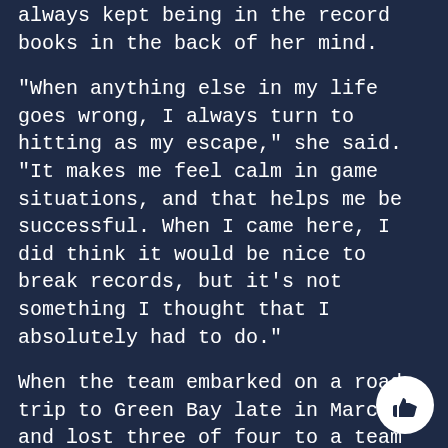always kept being in the record books in the back of her mind.
"When anything else in my life goes wrong, I always turn to hitting as my escape," she said. "It makes me feel calm in game situations, and that helps me be successful. When I came here, I did think it would be nice to break records, but it's not something I thought that I absolutely had to do."
When the team embarked on a road trip to Green Bay late in March and lost three of four to a team behind them in the standings, getting outscored 32-10 in the three games, this proved to be a turning point of the season as the Colonials have won 13 of their last 18 games and sit fourth in the conference. Higgins pointed to this series as the day they learned to not take anyone lightly.
"A lot can happen in four games. You can dominate the first day and play terribly the next day," Higgins said. "We have take it game-by-game and not take any team lightly, tha the biggest adjustment we made [after that series]."